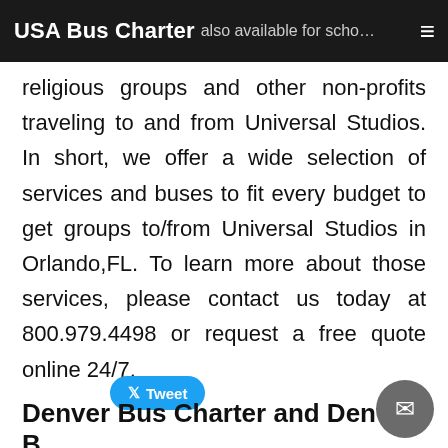USA Bus Charter  also available for scho… ☰
religious groups and other non-profits traveling to and from Universal Studios. In short, we offer a wide selection of services and buses to fit every budget to get groups to/from Universal Studios in Orlando,FL. To learn more about those services, please contact us today at 800.979.4498 or request a free quote online 24/7.
[Figure (other): Twitter Tweet button (blue rounded rectangle with bird icon)]
Denver Bus Charter and Denver Bus Rental | USA Bus Charter